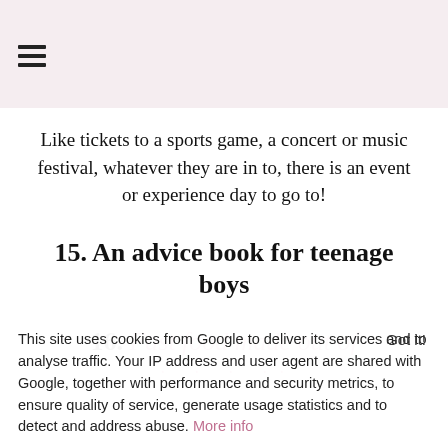[menu icon]
Like tickets to a sports game, a concert or music festival, whatever they are in to, there is an event or experience day to go to!
15. An advice book for teenage boys
16. Fast food made out of
This site uses cookies from Google to deliver its services and to analyse traffic. Your IP address and user agent are shared with Google, together with performance and security metrics, to ensure quality of service, generate usage statistics and to detect and address abuse. More info Got it!